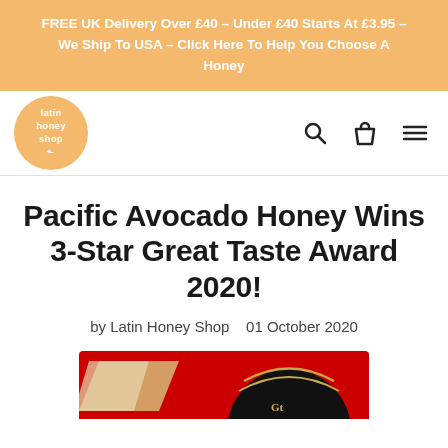FREE UK Delivery Over £40 – Under £40 Starts At £3.95 – We Ship To USA – Click Here To Help You Choose A Honey
[Figure (logo): Latin Honey Shop circular orange logo with text 'latin honey shop']
Pacific Avocado Honey Wins 3-Star Great Taste Award 2020!
by Latin Honey Shop   01 October 2020
[Figure (photo): Partial image of a Great Taste Award badge/certificate with red background and dark circular emblem]